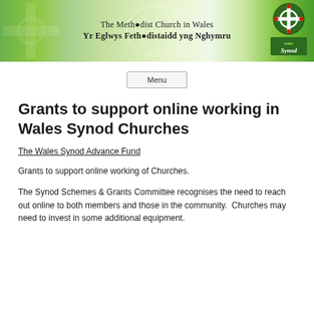[Figure (logo): The Methodist Church in Wales / Yr Eglwys Fethodistaidd yng Nghymru banner with green gradient background, cross symbol on left, text in center, and Wales Synod logo on right]
Menu
Grants to support online working in Wales Synod Churches
The Wales Synod Advance Fund
Grants to support online working of Churches.
The Synod Schemes & Grants Committee recognises the need to reach out online to both members and those in the community.  Churches may need to invest in some additional equipment.